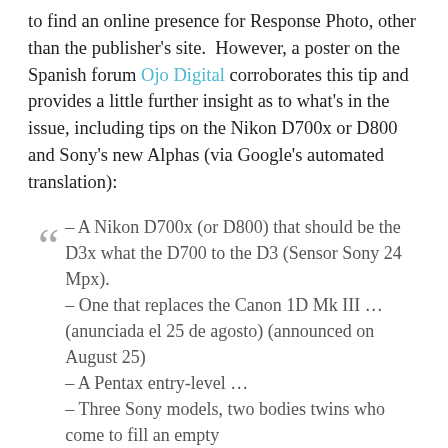to find an online presence for Response Photo, other than the publisher's site. However, a poster on the Spanish forum Ojo Digital corroborates this tip and provides a little further insight as to what's in the issue, including tips on the Nikon D700x or D800 and Sony's new Alphas (via Google's automated translation):
" – A Nikon D700x (or D800) that should be the D3x what the D700 to the D3 (Sensor Sony 24 Mpx). – One that replaces the Canon 1D Mk III … (anunciada el 25 de agosto) (announced on August 25) – A Pentax entry-level … – Three Sony models, two bodies twins who come to fill an empty